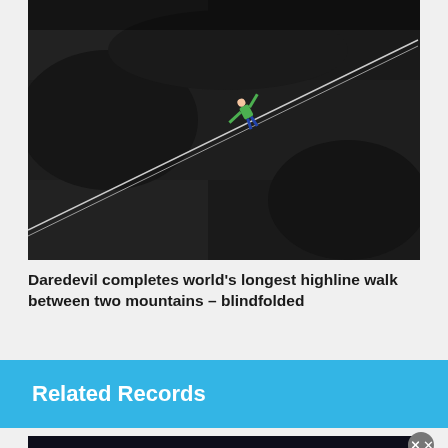[Figure (photo): Person in green jacket walking on a highline wire strung diagonally across a dark rocky mountain gorge, arms outstretched for balance]
Daredevil completes world's longest highline walk between two mountains – blindfolded
Related Records
[Figure (photo): Dark nighttime outdoor scene, partially visible at bottom of page]